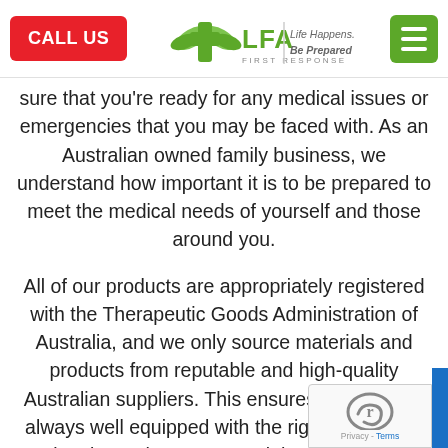[Figure (logo): LFA First Response logo with green cross and wings, tagline 'Life Happens. Be Prepared']
sure that you're ready for any medical issues or emergencies that you may be faced with. As an Australian owned family business, we understand how important it is to be prepared to meet the medical needs of yourself and those around you.
All of our products are appropriately registered with the Therapeutic Goods Administration of Australia, and we only source materials and products from reputable and high-quality Australian suppliers. This ensures that you are always well equipped with the right supplies in situations where you need them the most.
LFA First Response is proud to offer unbeatable use-based to annually for your personal along at wellbeing